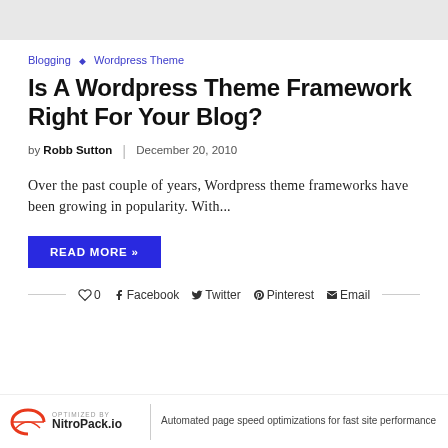Blogging ◇ Wordpress Theme
Is A Wordpress Theme Framework Right For Your Blog?
by Robb Sutton | December 20, 2010
Over the past couple of years, Wordpress theme frameworks have been growing in popularity. With...
READ MORE »
0  Facebook  Twitter  Pinterest  Email
OPTIMIZED BY NitroPack.io | Automated page speed optimizations for fast site performance